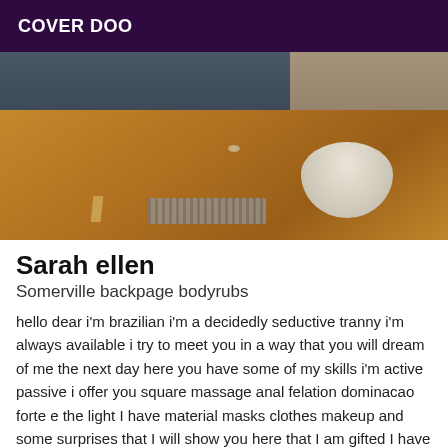COVER DOO
[Figure (photo): Interior room photo showing a dark leather sofa, herringbone wood parquet floor, a striped rug/mat, and a round cylindrical ottoman or object in the foreground right.]
Sarah ellen
Somerville backpage bodyrubs
hello dear i'm brazilian i'm a decidedly seductive tranny i'm always available i try to meet you in a way that you will dream of me the next day here you have some of my skills i'm active passive i offer you square massage anal felation dominacao forte e the light I have material masks clothes makeup and some surprises that I will show you here that I am gifted I have 20/8 I am like the